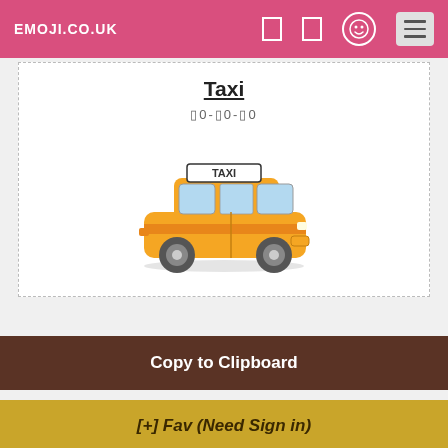EMOJI.CO.UK
Taxi
🄾0-🄾0-🄾0
[Figure (illustration): Yellow taxi cab emoji illustration with TAXI sign on roof, orange stripe, black wheels]
Copy to Clipboard
[+] Fav (Need Sign in)
Recreational Vehicle
🄾4.5-🄾5-🄾1